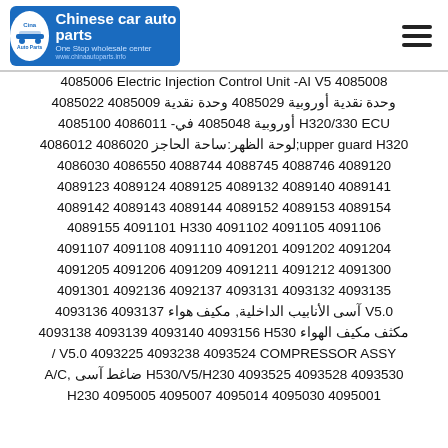Chinese car auto parts - One Stop wholesale center
4085006 Electric Injection Control Unit -AI V5 4085008 4085022 4085009 وحدة نقدية أوروبية 4085029 وحدة نقدية أوروبية 4085048 في- 4086011 4085100 H320/330 ECU 4086012 4086020 لوحة الظهر:ساحة الحاجز;upper guard H320 4086030 4086550 4088744 4088745 4088746 4089120 4089123 4089124 4089125 4089132 4089140 4089141 4089142 4089143 4089144 4089152 4089153 4089154 4089155 4091101 H330 4091102 4091105 4091106 4091107 4091108 4091110 4091201 4091202 4091204 4091205 4091206 4091209 4091211 4091212 4091300 4091301 4092136 4092137 4093131 4093132 4093135 4093136 4093137 آسى الأنابيب الداخلية, مكيف هواء V5.0 4093138 4093139 4093140 4093156 H530 مكثف مكيف الهواء 4093225 4093238 4093524 COMPRESSOR ASSY / V5.0 4093525 4093528 4093530 H530/V5/H230 ضاغط آسى, A/C H230 4095005 4095007 4095014 4095030 4095001